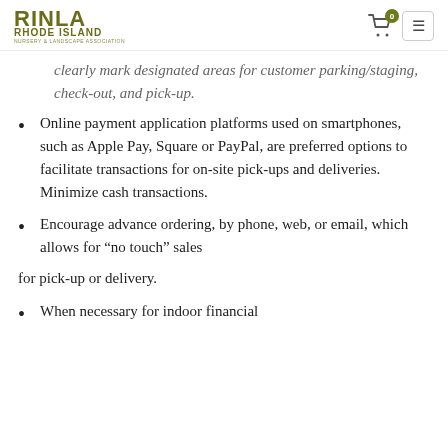RINLA RHODE ISLAND NURSERY & LANDSCAPE ASSOCIATION
Clearly mark designated areas for customer parking/staging, check-out, and pick-up.
Online payment application platforms used on smartphones, such as Apple Pay, Square or PayPal, are preferred options to facilitate transactions for on-site pick-ups and deliveries. Minimize cash transactions.
Encourage advance ordering, by phone, web, or email, which allows for “no touch” sales for pick-up or delivery.
When necessary for indoor financial